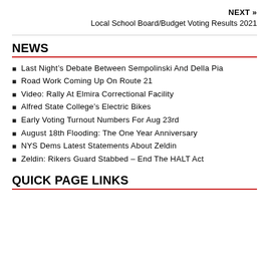NEXT » Local School Board/Budget Voting Results 2021
NEWS
Last Night's Debate Between Sempolinski And Della Pia
Road Work Coming Up On Route 21
Video: Rally At Elmira Correctional Facility
Alfred State College's Electric Bikes
Early Voting Turnout Numbers For Aug 23rd
August 18th Flooding: The One Year Anniversary
NYS Dems Latest Statements About Zeldin
Zeldin: Rikers Guard Stabbed – End The HALT Act
QUICK PAGE LINKS